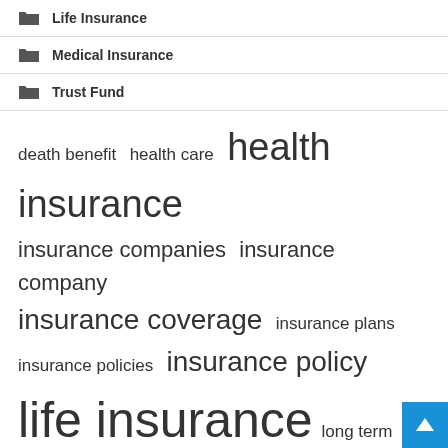Life Insurance
Medical Insurance
Trust Fund
[Figure (infographic): Tag cloud of insurance-related terms in varying font sizes: death benefit, health care, health insurance, insurance companies, insurance company, insurance coverage, insurance plans, insurance policies, insurance policy, life insurance, long term, medical insurance, sum insured, term life, united states]